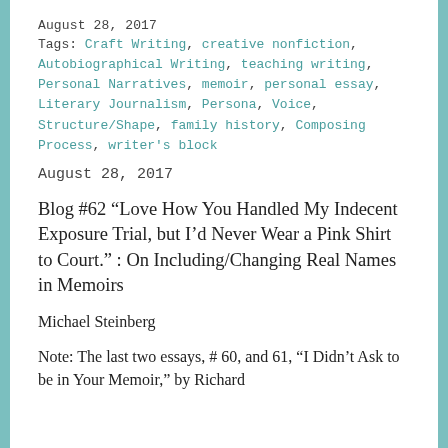August 28, 2017
Tags: Craft Writing, creative nonfiction, Autobiographical Writing, teaching writing, Personal Narratives, memoir, personal essay, Literary Journalism, Persona, Voice, Structure/Shape, family history, Composing Process, writer's block
August 28, 2017
Blog #62 “Love How You Handled My Indecent Exposure Trial, but I’d Never Wear a Pink Shirt to Court.” : On Including/Changing Real Names in Memoirs
Michael Steinberg
Note: The last two essays, # 60, and 61, “I Didn’t Ask to be in Your Memoir,” by Richard